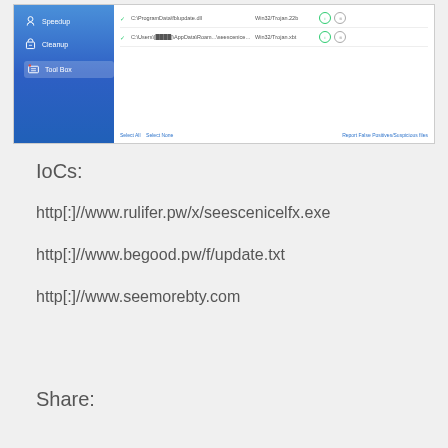[Figure (screenshot): Antivirus scan results window showing detected threats. Left sidebar with blue gradient background shows menu items: Speedup, Cleanup, Tool Box. Main panel shows two detected files: C:\ProgramData\fblupdate.dll (Win32/Trojan.22b) and C:\Users\[redacted]\AppData\Roam...\seescenicefx.exe (Win32/Trojan.xbt). Bottom has links: Select All, Select None, Report False Positives/Suspicious files.]
IoCs:
http[:]//www.rulifer.pw/x/seescenicelfx.exe
http[:]//www.begood.pw/f/update.txt
http[:]//www.seemorebty.com
Share: